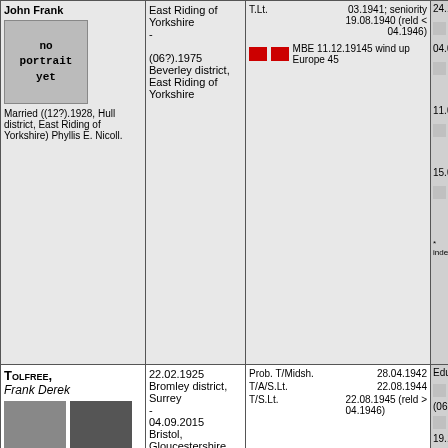| Name/Bio | Birth/Death | Rank/Service | Awards/Notes |
| --- | --- | --- | --- |
| John Frank [no portrait yet] Married ((12?).1928, Hull district, East Riding of Yorkshire) Phyllis E. Nicoll. | East Riding of Yorkshire - (06?).1975 Beverley district, East Riding of Yorkshire | T.Lt. 03.1941; seniority 19.08.1940 (reld < 04.1946) [MBE] MBE 11.12.19145 wind up Europe 45 | 24.10.1 04.01.1 11.08.1 15.07.1 * indexed. |
| Tolfree, Frank Derek [photos] Son of ... Tolfree, and ... Wheatley. Married 1st ((06?).1948 | 22.02.1925 Bromley district, Surrey - 04.09.2015 Bristol, Gloucestershire | Prob. T/Midsh. 28.04.1942 T/A/S.Lt. 22.08.1944 T/S.Lt. 22.08.1945 (reld > 04.1946) | Education (06.1 19.12.1 |